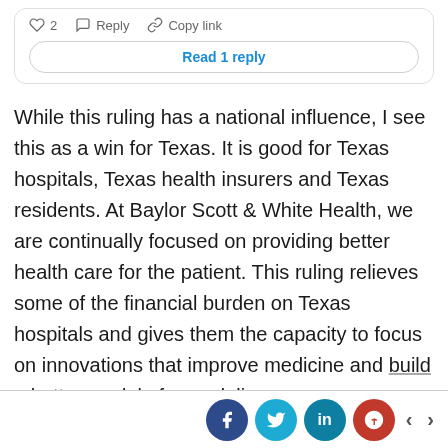[Figure (screenshot): Social media post UI element showing heart icon with count 2, Reply button, Copy link button, and a 'Read 1 reply' button]
While this ruling has a national influence, I see this as a win for Texas. It is good for Texas hospitals, Texas health insurers and Texas residents. At Baylor Scott & White Health, we are continually focused on providing better health care for the patient. This ruling relieves some of the financial burden on Texas hospitals and gives them the capacity to focus on innovations that improve medicine and build a better model of care delivery.
[Figure (screenshot): Social sharing bar at bottom with Facebook, Twitter, LinkedIn, Pinterest icons and left/right navigation arrows]